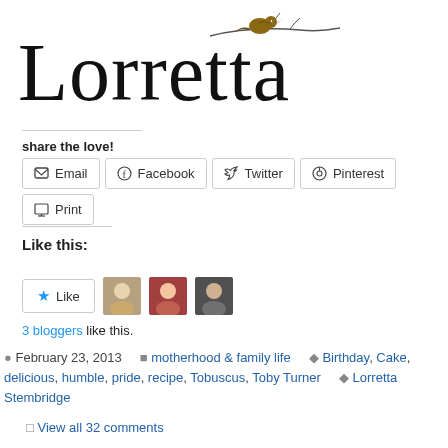[Figure (logo): Lorretta cursive script logo with a decorative bird on a branch above the text]
share the love!
Email  Facebook  Twitter  Pinterest  Print
Like this:
Like  [3 avatar images]
3 bloggers like this.
February 23, 2013   motherhood & family life   Birthday, Cake, delicious, humble, pride, recipe, Tobuscus, Toby Turner   Lorretta Stembridge
View all 32 comments